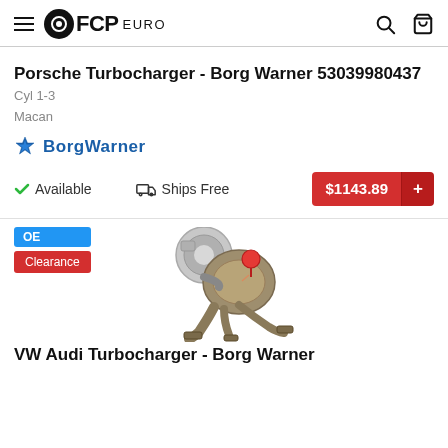FCP EURO
Porsche Turbocharger - Borg Warner 53039980437
Cyl 1-3
Macan
[Figure (logo): BorgWarner logo with blue gear/snowflake icon and bold blue text]
Available   Ships Free   $1143.89
[Figure (photo): Turbocharger product photo showing a silver/bronze twin-scroll turbocharger assembly with red accent and exhaust manifold]
OE
Clearance
VW Audi Turbocharger - Borg Warner